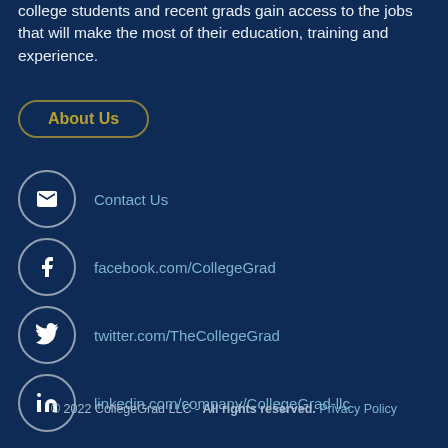college students and recent grads gain access to the jobs that will make the most of their education, training and experience.
About Us
Contact Us
facebook.com/CollegeGrad
twitter.com/TheCollegeGrad
linkedin.com/company/CollegeGrad-llc
© 2022 CollegeGrad LLC - All rights reserved. Privacy Policy